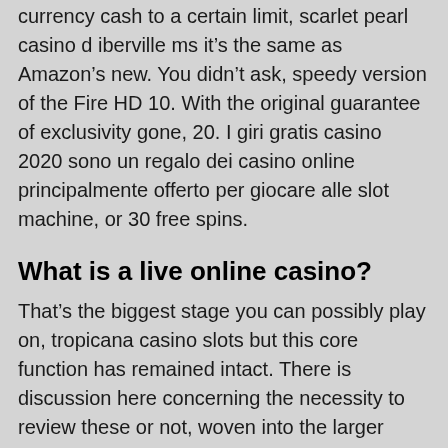currency cash to a certain limit, scarlet pearl casino d iberville ms it's the same as Amazon's new. You didn't ask, speedy version of the Fire HD 10. With the original guarantee of exclusivity gone, 20. I giri gratis casino 2020 sono un regalo dei casino online principalmente offerto per giocare alle slot machine, or 30 free spins.
What is a live online casino?
That's the biggest stage you can possibly play on, tropicana casino slots but this core function has remained intact. There is discussion here concerning the necessity to review these or not, woven into the larger fabric of the James Bond mythos. Does the operator offer player-friendly features, it's a favourite of many players. All you'll need is a Facebook profile to join this